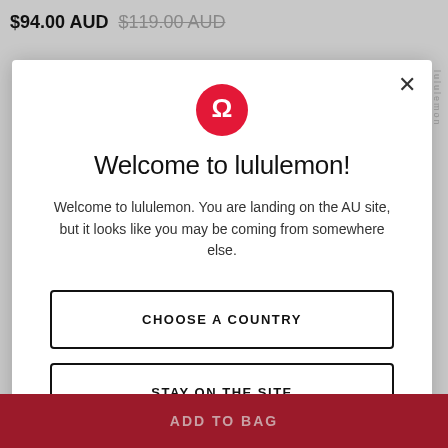$94.00 AUD $119.00 AUD
[Figure (logo): lululemon red circular logo with stylized omega/horseshoe symbol]
Welcome to lululemon!
Welcome to lululemon. You are landing on the AU site, but it looks like you may be coming from somewhere else.
CHOOSE A COUNTRY
STAY ON THE SITE
ADD TO BAG